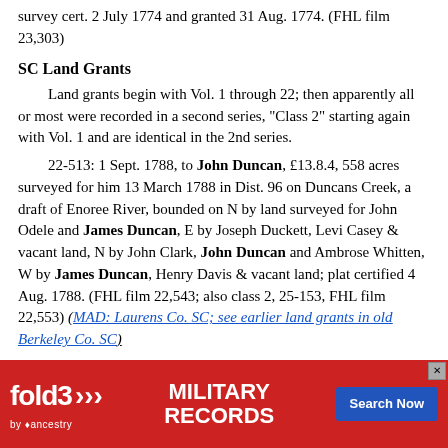survey cert. 2 July 1774 and granted 31 Aug. 1774. (FHL film 23,303)
SC Land Grants
Land grants begin with Vol. 1 through 22; then apparently all or most were recorded in a second series, "Class 2" starting again with Vol. 1 and are identical in the 2nd series.
22-513: 1 Sept. 1788, to John Duncan, £13.8.4, 558 acres surveyed for him 13 March 1788 in Dist. 96 on Duncans Creek, a draft of Enoree River, bounded on N by land surveyed for John Odele and James Duncan, E by Joseph Duckett, Levi Casey & vacant land, N by John Clark, John Duncan and Ambrose Whitten, W by James Duncan, Henry Davis & vacant land; plat certified 4 Aug. 1788. (FHL film 22,543; also class 2, 25-153, FHL film 22,553) (MAD: Laurens Co. SC; see earlier land grants in old Berkeley Co. SC)
Greenville Co. SC Land Grants, Surveys, etc., from 96th Dist.; early years include Laurens & other counties formed from 96th Dist.; Survey Book D, 1788-1799 (FHL film 292,482; plats showing borders of land)
D-15: Pursuant to warrant from Comr. of locations N.Saluda dated 10 N[...] acres in Laurens[...] adj. NW by land su[...] cant